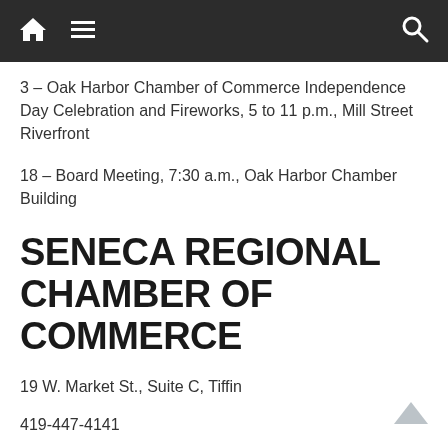Navigation bar with home, menu, and search icons
3 – Oak Harbor Chamber of Commerce Independence Day Celebration and Fireworks, 5 to 11 p.m., Mill Street Riverfront
18 – Board Meeting, 7:30 a.m., Oak Harbor Chamber Building
SENECA REGIONAL CHAMBER OF COMMERCE
19 W. Market St., Suite C, Tiffin
419-447-4141